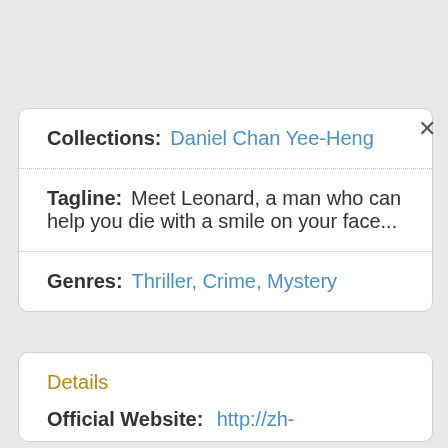Collections:  Daniel Chan Yee-Heng
Tagline:  Meet Leonard, a man who can help you die with a smile on your face...
Genres:  Thriller, Crime, Mystery
Details
Official Website:  http://zh-